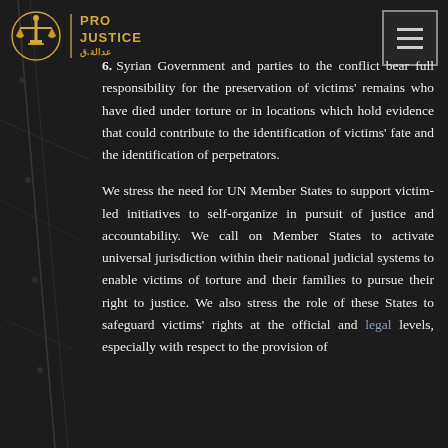Pro Justice
6. Syrian Government and parties to the conflict bear full responsibility for the preservation of victims' remains who have died under torture or in locations which hold evidence that could contribute to the identification of victims' fate and the identification of perpetrators.
We stress the need for UN Member States to support victim-led initiatives to self-organize in pursuit of justice and accountability. We call on Member States to activate universal jurisdiction within their national judicial systems to enable victims of torture and their families to pursue their right to justice. We also stress the role of these States to safeguard victims' rights at the official and legal levels, especially with respect to the provision of